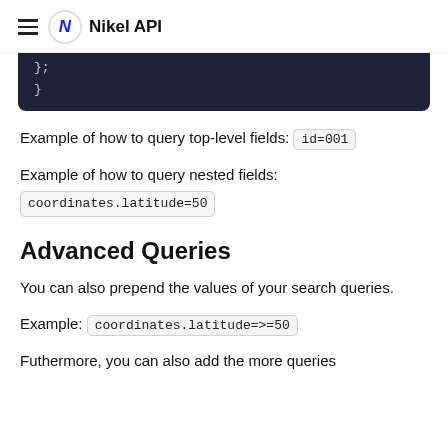Nikel API
[Figure (screenshot): Dark code block showing closing brace of JSON/code snippet on dark navy background]
Example of how to query top-level fields: id=001
Example of how to query nested fields: coordinates.latitude=50
Advanced Queries
You can also prepend the values of your search queries.
Example: coordinates.latitude=>=50
Futhermore, you can also add the more queries